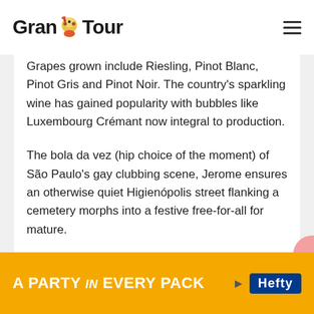Grand Tour
Grapes grown include Riesling, Pinot Blanc, Pinot Gris and Pinot Noir. The country's sparkling wine has gained popularity with bubbles like Luxembourg Crémant now integral to production.
The bola da vez (hip choice of the moment) of São Paulo's gay clubbing scene, Jerome ensures an otherwise quiet Higienópolis street flanking a cemetery morphs into a festive free-for-all for mature.
[Figure (infographic): Advertisement banner: orange background with text 'A PARTY in EVERY PACK' and Hefty logo in blue]